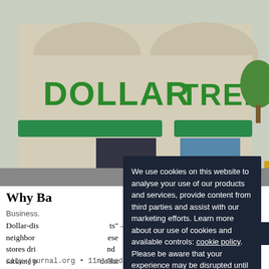[Figure (photo): Exterior photo of a Dollar Tree discount store. Large green letters spell DOLLAR TREE on the storefront fascia. Green awnings are visible. Promotional signs in the windows advertise Frozen & Dairy Foods $1 and 15oz Steak $1.]
Why Ba
Business.
Dollar-dis…ts” – neighbor…ese stores dri…nd saturate p…dollar stores rea…
[Figure (screenshot): Cookie consent modal overlay on a dark navy background (#1c2535). Text reads: We use cookies on this website to analyse your use of our products and services, provide content from third parties and assist with our marketing efforts. Learn more about our use of cookies and available controls: cookie policy (underlined link). Please be aware that your experience may be disrupted until you accept cookies. Below is a white button labeled ACCEPT COOKIES in bold black uppercase letters.]
city-journal.org • 11m read